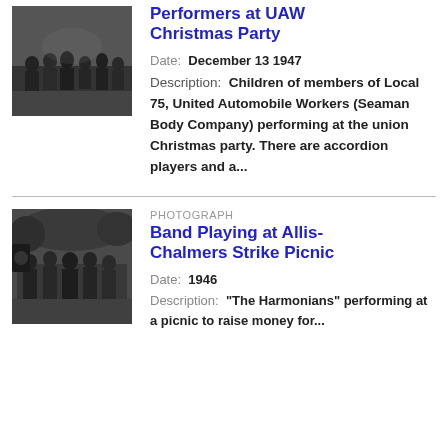[Figure (photo): Black and white photo of children performers at a UAW Christmas party, group of people standing on a stage or floor]
Performers at UAW Christmas Party
Date: December 13 1947
Description: Children of members of Local 75, United Automobile Workers (Seaman Body Company) performing at the union Christmas party. There are accordion players and a...
[Figure (photo): Black and white photo of a band playing at an Allis-Chalmers Strike Picnic, musicians and audience visible outdoors]
PHOTOGRAPH
Band Playing at Allis-Chalmers Strike Picnic
Date: 1946
Description: "The Harmonians" performing at a picnic to raise money for...